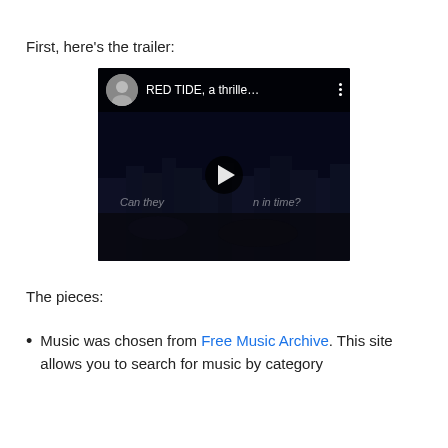First, here's the trailer:
[Figure (screenshot): YouTube video embed showing a dark city skyline at night. Top bar shows a circular black-and-white avatar photo of a woman and the title 'RED TIDE, a thrille…' with a vertical three-dot menu icon. Center shows a play button. Overlaid text reads 'Can they … n in time?']
The pieces:
Music was chosen from Free Music Archive. This site allows you to search for music by category